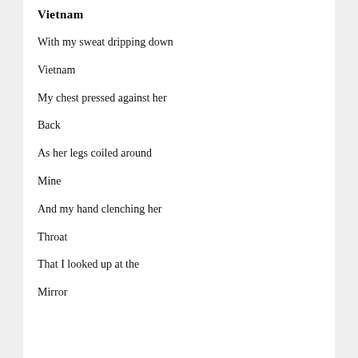Vietnam
With my sweat dripping down
Vietnam
My chest pressed against her
Back
As her legs coiled around
Mine
And my hand clenching her
Throat
That I looked up at the
Mirror